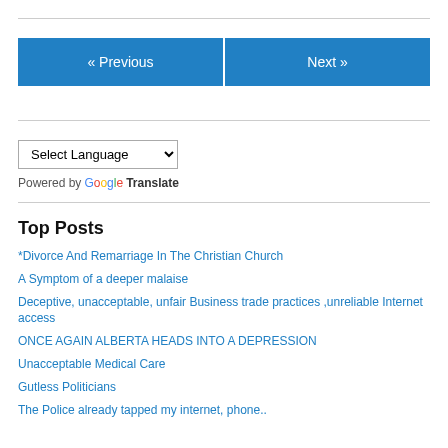« Previous    Next »
Select Language (dropdown)
Powered by Google Translate
Top Posts
*Divorce And Remarriage In The Christian Church
A Symptom of a deeper malaise
Deceptive, unacceptable, unfair Business trade practices ,unreliable Internet access
ONCE AGAIN ALBERTA HEADS INTO A DEPRESSION
Unacceptable Medical Care
Gutless Politicians
The Police already tapped my internet, phone..